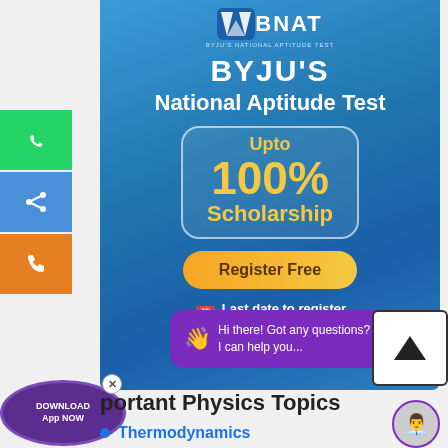[Figure (infographic): BYJU'S National Aptitude Test advertisement banner with blue gradient background, BNAT logo, 'Upto 100% Scholarship' text in gold, Register Free button, and last date to register 21 Aug]
[Figure (infographic): Purple chat bubble widget: 'Hi there! Got any questions? I can help you...' with wave emoji]
[Figure (infographic): Purple circular Download App NOW button, scroll-up button, social sharing sidebar icons (WhatsApp, Share, Call)]
Important Physics Topics
Thermodynamics